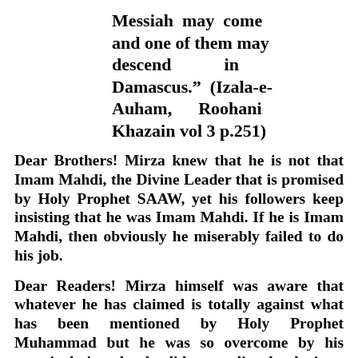Messiah may come and one of them may descend in Damascus." (Izala-e-Auham, Roohani Khazain vol 3 p.251)
Dear Brothers! Mirza knew that he is not that Imam Mahdi, the Divine Leader that is promised by Holy Prophet SAAW, yet his followers keep insisting that he was Imam Mahdi. If he is Imam Mahdi, then obviously he miserably failed to do his job.
Dear Readers! Mirza himself was aware that whatever he has claimed is totally against what has been mentioned by Holy Prophet Muhammad but he was so overcome by his satanic desires that he did not realize that he is